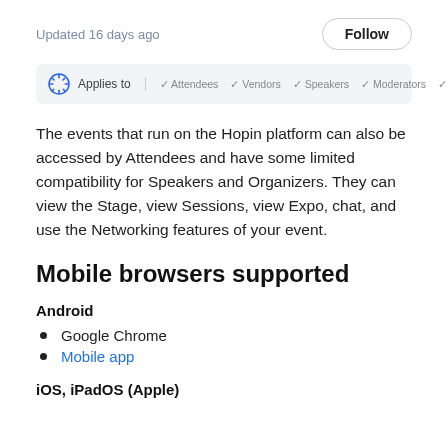Updated 16 days ago
[Figure (infographic): Applies to bar showing logo and checkmarks for Attendees, Vendors, Speakers, Moderators, Organizers]
The events that run on the Hopin platform can also be accessed by Attendees and have some limited compatibility for Speakers and Organizers. They can view the Stage, view Sessions, view Expo, chat, and use the Networking features of your event.
Mobile browsers supported
Android
Google Chrome
Mobile app
iOS, iPadOS (Apple)